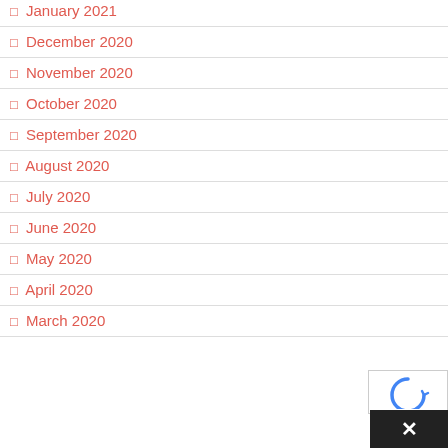January 2021
December 2020
November 2020
October 2020
September 2020
August 2020
July 2020
June 2020
May 2020
April 2020
March 2020